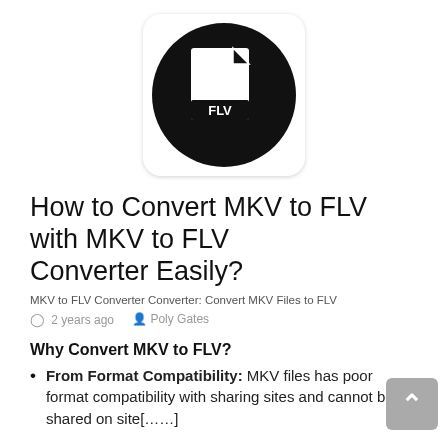[Figure (logo): FLV file format icon: black circle with white document/file icon and 'FLV' label, inside a rounded white box with shadow]
How to Convert MKV to FLV with MKV to FLV Converter Easily?
MKV to FLV Converter Converter: Convert MKV Files to FLV
2 years ago   Poly Gates
Why Convert MKV to FLV?
From Format Compatibility: MKV files has poor format compatibility with sharing sites and cannot be shared on site[……]